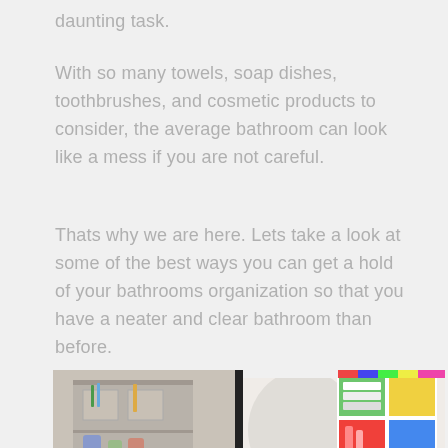daunting task.
With so many towels, soap dishes, toothbrushes, and cosmetic products to consider, the average bathroom can look like a mess if you are not careful.
Thats why we are here. Lets take a look at some of the best ways you can get a hold of your bathrooms organization so that you have a neater and clear bathroom than before.
[Figure (photo): Two side-by-side bathroom organization photos: left shows items stored behind a door with toothbrushes and cleaning products; right shows colorful wall-mounted cube shelving unit with towels and bathroom products in a bright bathroom.]